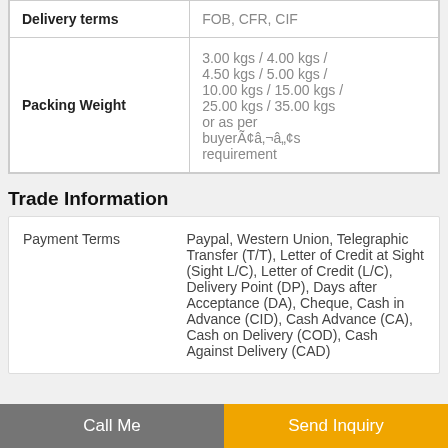|  |  |
| --- | --- |
| Delivery terms | FOB, CFR, CIF |
| Packing Weight | 3.00 kgs / 4.00 kgs / 4.50 kgs / 5.00 kgs / 10.00 kgs / 15.00 kgs / 25.00 kgs / 35.00 kgs or as per buyerÃ¢â‚¬â„¢s requirement |
Trade Information
| Payment Terms |  |
| --- | --- |
| Payment Terms | Paypal, Western Union, Telegraphic Transfer (T/T), Letter of Credit at Sight (Sight L/C), Letter of Credit (L/C), Delivery Point (DP), Days after Acceptance (DA), Cheque, Cash in Advance (CID), Cash Advance (CA), Cash on Delivery (COD), Cash Against Delivery (CAD) |